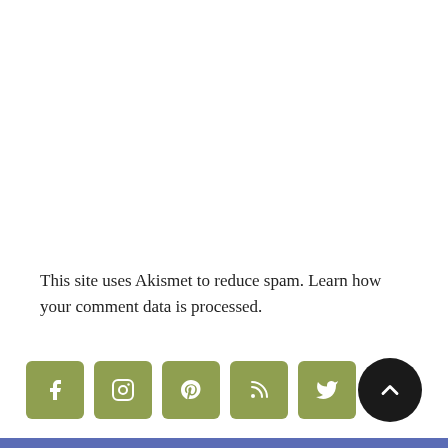This site uses Akismet to reduce spam. Learn how your comment data is processed.
[Figure (infographic): Row of five olive-green social media icon buttons (Facebook, Instagram, Pinterest, RSS, Twitter) followed by a dark circular scroll-to-top button with an upward chevron]